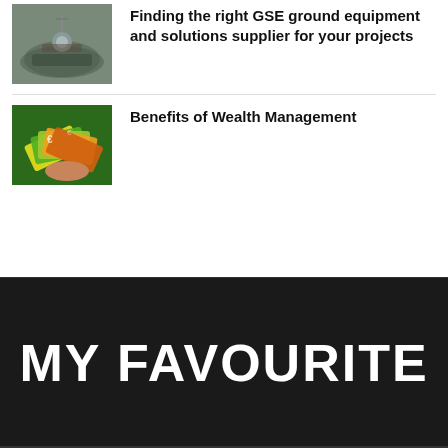[Figure (photo): Thumbnail image showing what appears to be ground equipment or drilling on soil/sandy surface]
Finding the right GSE ground equipment and solutions supplier for your projects
[Figure (photo): Thumbnail image showing a hand holding a fan of euro banknotes]
Benefits of Wealth Management
MY FAVOURITE